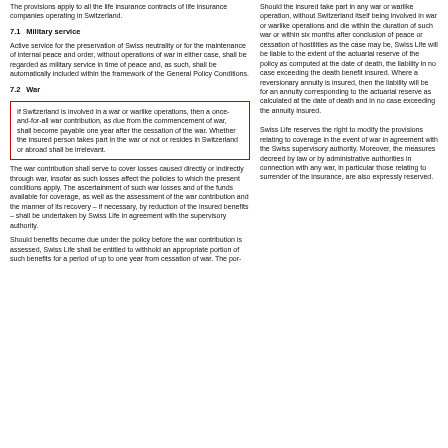The provisions apply to all the life insurance contracts of life insurance companies operating in Switzerland.
7.1 Military service
Active service for the preservation of Swiss neutrality or for the maintenance of internal peace and order, without operations of war in either case, shall be regarded as military service in time of peace and, as such, shall be automatically included within the framework of the General Policy Conditions.
7.2 War
If Switzerland is involved in a war or warlike operations, then a once-and-for-all war contribution, as due from the commencement of war, shall become payable one year after the cessation of the war. Whether the insured person takes part in the war or not or resides in Switzerland or abroad shall be irrelevant.
The war contribution shall serve to cover losses caused directly or indirectly through war, insofar as such losses affect the policies to which the present conditions apply. The ascertainment of such war losses and of the funds available for coverage, as well as the assessment of the war contribution and the manner of its recovery – if necessary, by reduction of the insured benefits – shall be undertaken by Swiss Life in agreement with the supervisory authority.
Should benefits become due under the policy before the war contribution is assessed, Swiss Life shall be entitled to withhold an appropriate portion of such benefits for a period of up to one year from cessation of war. The por-
Should the insured take part in any war or warlike operation, without Switzerland itself being involved in war or warlike operations and die within the duration of such war or within six months after conclusion of peace or cessation of hostilities as the case may be, Swiss Life will be liable to the extent of the actuarial reserve of the policy as computed at the date of death, the liability in no case exceeding the death benefit insured. Where a reversionary annuity is insured, then the liability will be for an annuity corresponding to the actuarial reserve as calculated at the date of death and in no case exceeding the annuity insured.
Swiss Life reserves the right to modify the provisions relating to coverage in the event of war in agreement with the Swiss supervisory authority. Moreover, the measures decreed by law or by administrative authorities in connection with any war, in particular those relating to surrender of the insurance, are also expressly reserved.
This website uses cookies to improve your experience. We'll assume you're ok with this, but you can opt-out if you wish.
Cookie settings
ACCEPT